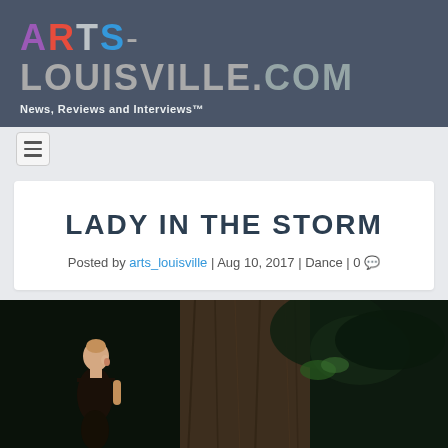ARTS-LOUISVILLE.COM — News, Reviews and Interviews™
LADY IN THE STORM
Posted by arts_louisville | Aug 10, 2017 | Dance | 0
[Figure (photo): A female dancer in dark clothing standing in front of a large tree trunk in a dark outdoor setting]